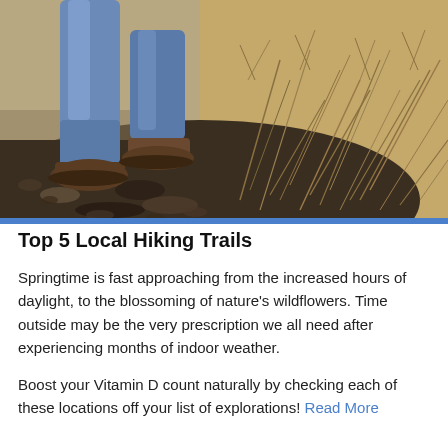[Figure (photo): Close-up photo of a person's legs and feet in jeans and brown hiking boots walking on a rocky dirt trail, with dry brown brush and shrubs visible on the right side.]
Top 5 Local Hiking Trails
Springtime is fast approaching from the increased hours of daylight, to the blossoming of nature's wildflowers. Time outside may be the very prescription we all need after experiencing months of indoor weather.
Boost your Vitamin D count naturally by checking each of these locations off your list of explorations! Read More